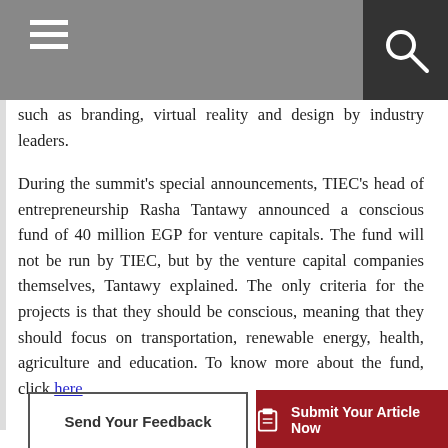[Navigation bar with hamburger menu and search icon]
such as branding, virtual reality and design by industry leaders.
During the summit's special announcements, TIEC's head of entrepreneurship Rasha Tantawy announced a conscious fund of 40 million EGP for venture capitals. The fund will not be run by TIEC, but by the venture capital companies themselves, Tantawy explained. The only criteria for the projects is that they should be conscious, meaning that they should focus on transportation, renewable energy, health, agriculture and education. To know more about the fund, click here.
Send Your Feedback | Submit Your Article Now